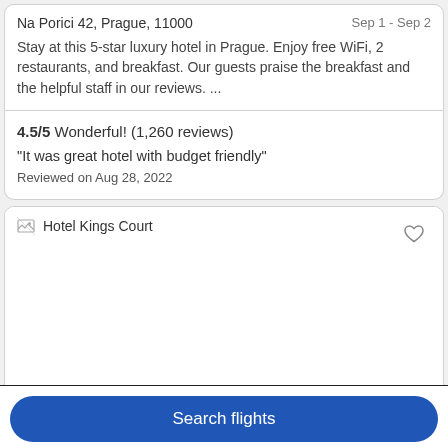Na Porici 42, Prague, 11000
Sep 1 - Sep 2
Stay at this 5-star luxury hotel in Prague. Enjoy free WiFi, 2 restaurants, and breakfast. Our guests praise the breakfast and the helpful staff in our reviews. ...
4.5/5 Wonderful! (1,260 reviews)
"It was great hotel with budget friendly"
Reviewed on Aug 28, 2022
[Figure (photo): Hotel Kings Court placeholder image with broken image icon]
Search flights